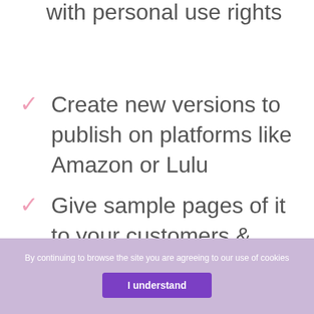with personal use rights
Create new versions to publish on platforms like Amazon or Lulu
Give sample pages of it to your customers & clients
By continuing to browse the site you are agreeing to our use of cookies
I understand